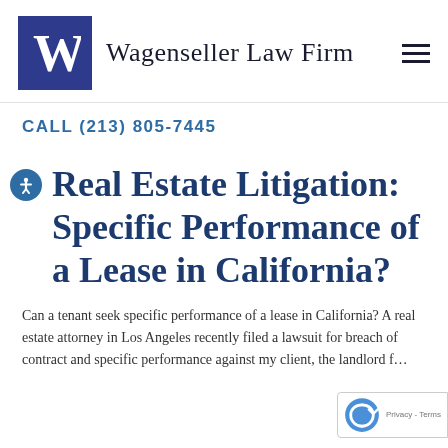Wagenseller Law Firm
CALL (213) 805-7445
Real Estate Litigation: Specific Performance of a Lease in California?
Can a tenant seek specific performance of a lease in California? A real estate attorney in Los Angeles recently filed a lawsuit for breach of contract and specific performance against my client, the landlord f…